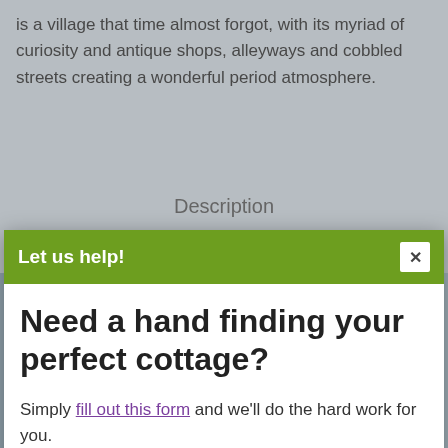is a village that time almost forgot, with its myriad of curiosity and antique shops, alleyways and cobbled streets creating a wonderful period atmosphere.
Description
General
Child friendly
No smoking
Patio
Scenic view
WiFi
Garden
Let us help!
Need a hand finding your perfect cottage?
Simply fill out this form and we'll do the hard work for you.